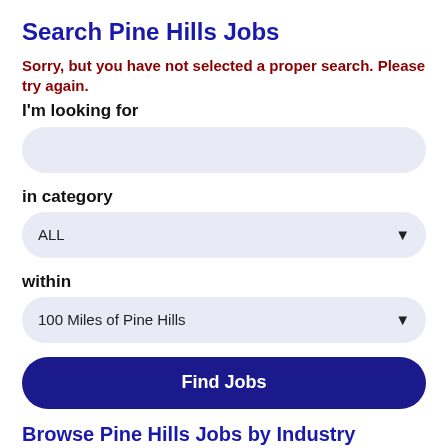Search Pine Hills Jobs
Sorry, but you have not selected a proper search. Please try again.
I'm looking for
in category
ALL
within
100 Miles of Pine Hills
Find Jobs
Browse Pine Hills Jobs by Industry
Pine Hills Accounting Jobs
(128 jobs)